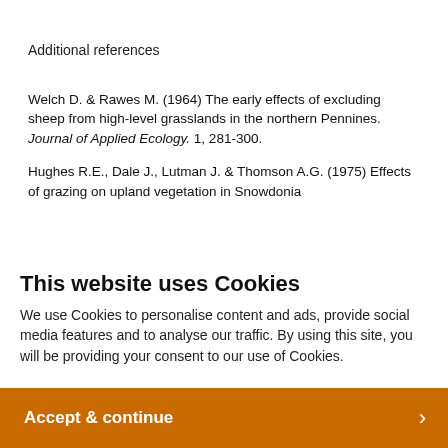Additional references
Welch D. & Rawes M. (1964) The early effects of excluding sheep from high-level grasslands in the northern Pennines. Journal of Applied Ecology. 1, 281-300.
Hughes R.E., Dale J., Lutman J. & Thomson A.G. (1975) Effects of grazing on upland vegetation in Snowdonia
This website uses Cookies
We use Cookies to personalise content and ads, provide social media features and to analyse our traffic. By using this site, you will be providing your consent to our use of Cookies.
Accept & continue >